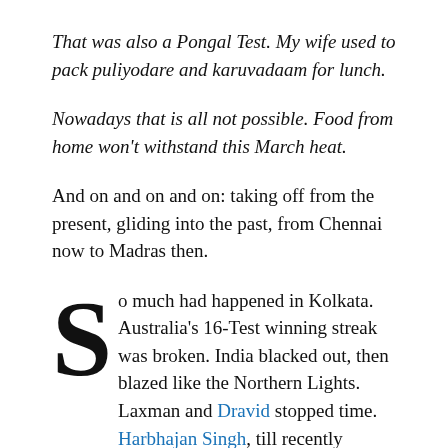That was also a Pongal Test. My wife used to pack puliyodare and karuvadaam for lunch.
Nowadays that is all not possible. Food from home won't withstand this March heat.
And on and on and on: taking off from the present, gliding into the past, from Chennai now to Madras then.
So much had happened in Kolkata. Australia's 16-Test winning streak was broken. India blacked out, then blazed like the Northern Lights. Laxman and Dravid stopped time. Harbhajan Singh, till recently